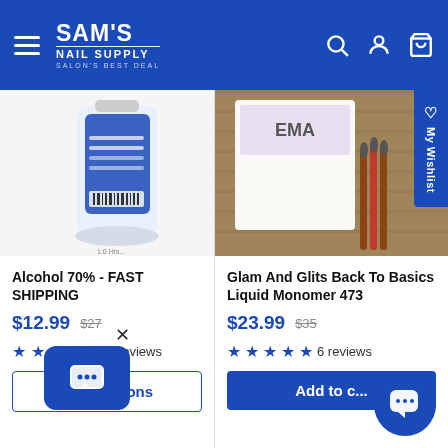SAM's NAIL SUPPLY - SALON'S BEST DEAL
[Figure (screenshot): Product image of Alcohol 70% bottle with blue label, partially cropped]
Alcohol 70% - FAST SHIPPING
$12.99  $27
★★★★★ 8 reviews
View options
[Figure (screenshot): Product image of Glam And Glits Back To Basics Liquid Monomer with brushes on wooden surface]
Glam And Glits Back To Basics Liquid Monomer 473
$23.99  $35
★★★★★ 6 reviews
Add to cart
[Figure (other): SMS chat popup button with close X icon]
[Figure (other): Chat bubble icon button]